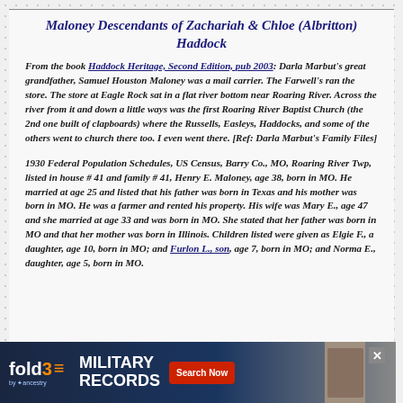Maloney Descendants of Zachariah & Chloe (Albritton) Haddock
From the book Haddock Heritage, Second Edition, pub 2003: Darla Marbut's great grandfather, Samuel Houston Maloney was a mail carrier. The Farwell's ran the store. The store at Eagle Rock sat in a flat river bottom near Roaring River. Across the river from it and down a little ways was the first Roaring River Baptist Church (the 2nd one built of clapboards) where the Russells, Easleys, Haddocks, and some of the others went to church there too. I even went there. [Ref: Darla Marbut's Family Files]
1930 Federal Population Schedules, US Census, Barry Co., MO, Roaring River Twp, listed in house # 41 and family # 41, Henry E. Maloney, age 38, born in MO. He married at age 25 and listed that his father was born in Texas and his mother was born in MO. He was a farmer and rented his property. His wife was Mary E., age 47 and she married at age 33 and was born in MO. She stated that her father was born in MO and that her mother was born in Illinois. Children listed were given as Elgie F., a daughter, age 10, born in MO; and Furlon L., son, age 7, born in MO; and Norma E., daughter, age 5, born in MO.
[Figure (screenshot): Advertisement for fold3 Military Records by Ancestry with Search Now button and close button, overlapping partially visible repeated page content below.]